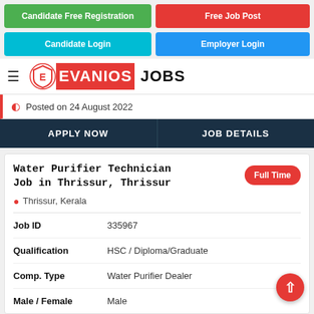Candidate Free Registration
Free Job Post
Candidate Login
Employer Login
[Figure (logo): Evanios Jobs logo with shield icon on red background]
Posted on 24 August 2022
APPLY NOW
JOB DETAILS
Water Purifier Technician Job in Thrissur, Thrissur
Thrissur, Kerala
| Field | Value |
| --- | --- |
| Job ID | 335967 |
| Qualification | HSC / Diploma/Graduate |
| Comp. Type | Water Purifier Dealer |
| Male / Female | Male |